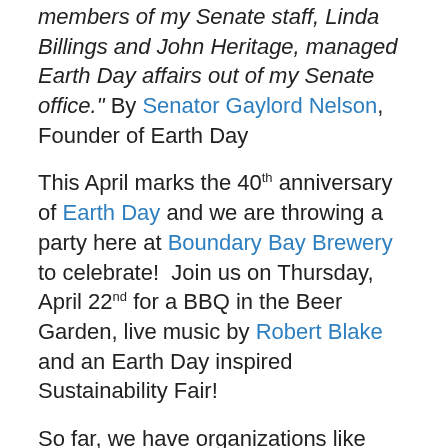members of my Senate staff, Linda Billings and John Heritage, managed Earth Day affairs out of my Senate office." By Senator Gaylord Nelson, Founder of Earth Day
This April marks the 40th anniversary of Earth Day and we are throwing a party here at Boundary Bay Brewery to celebrate!  Join us on Thursday, April 22nd for a BBQ in the Beer Garden, live music by Robert Blake and an Earth Day inspired Sustainability Fair!
So far, we have organizations like WTA, Smart Trips, the Pro Transit movement, Sustainable Connections and Make.Shift involved.  We also have Grow Northwest (a brand new publication focusing on local eating, DIY crafts, etc.) coming to debut their magazine.  We'll be raffling off bus passes and giving workshops on how to fix bike flats.  We'll have a bike loaded up with groceries for people to try